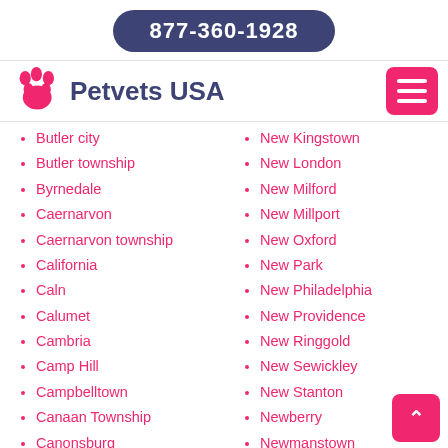877-360-1928
Petvets USA
Butler city
Butler township
Byrnedale
Caernarvon
Caernarvon township
California
Caln
Calumet
Cambria
Camp Hill
Campbelltown
Canaan Township
Canonsburg
New Kingstown
New London
New Milford
New Millport
New Oxford
New Park
New Philadelphia
New Providence
New Ringgold
New Sewickley
New Stanton
Newberry
Newmanstown